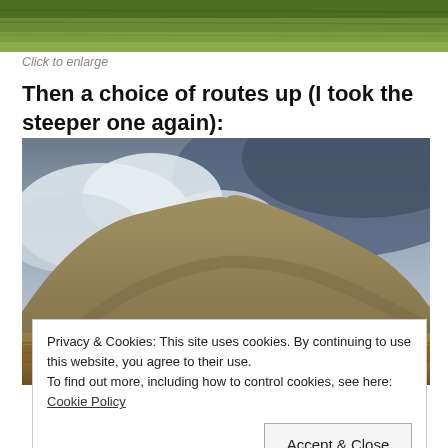[Figure (photo): Top strip of a photo showing green grassy hillside]
Click to enlarge
Then a choice of routes up (I took the steeper one again):
[Figure (photo): A rounded grassy hill/mountain under a dramatic cloudy sky with moorland in the foreground]
Privacy & Cookies: This site uses cookies. By continuing to use this website, you agree to their use.
To find out more, including how to control cookies, see here: Cookie Policy
[Accept & Close button]